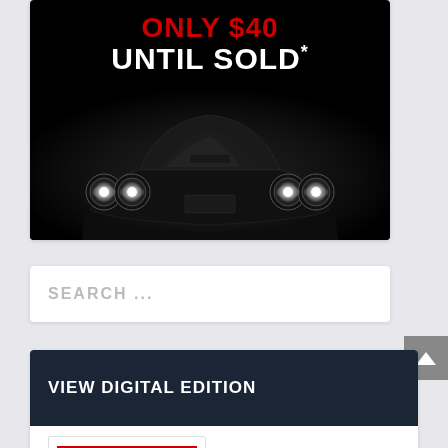[Figure (photo): Advertisement on dark/black background showing a luxury car (front view with distinctive twin circular headlights) with text 'ONLY $40 UNTIL SOLD*' and '*TERMS AND CONDITIONS APPLY']
SEARCH ...
VIEW DIGITAL EDITION
[Figure (logo): Mildura Weekly newspaper logo - FREE EVERY FRIDAY banner in red, MW monogram in dark navy, MILDURA in red, WEEKLY in dark navy]